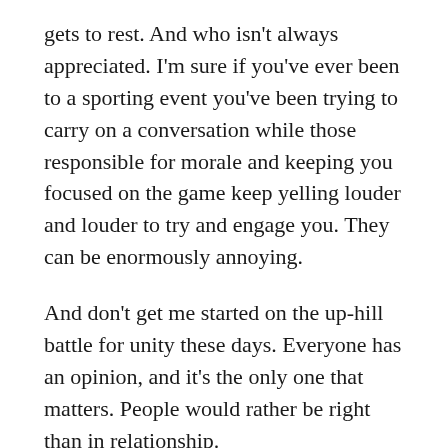gets to rest. And who isn't always appreciated. I'm sure if you've ever been to a sporting event you've been trying to carry on a conversation while those responsible for morale and keeping you focused on the game keep yelling louder and louder to try and engage you. They can be enormously annoying.
And don't get me started on the up-hill battle for unity these days. Everyone has an opinion, and it's the only one that matters. People would rather be right than in relationship.
Being right. Even if it means putting someone down. Even if that process involves untruth. Even if it means trashing their character.  Even